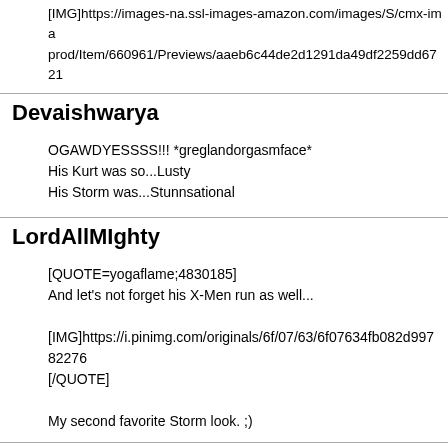[IMG]https://images-na.ssl-images-amazon.com/images/S/cmx-ima prod/Item/660961/Previews/aaeb6c44de2d1291da49df2259dd6721
Devaishwarya
OGAWDYESSSS!!! *greglandorgasmface*
His Kurt was so...Lusty
His Storm was...Stunnsational
LordAllMIghty
[QUOTE=yogaflame;4830185]
And let's not forget his X-Men run as well...

[IMG]https://i.pinimg.com/originals/6f/07/63/6f07634fb082d99782276
[/QUOTE]

My second favorite Storm look. ;)
Wind Rider